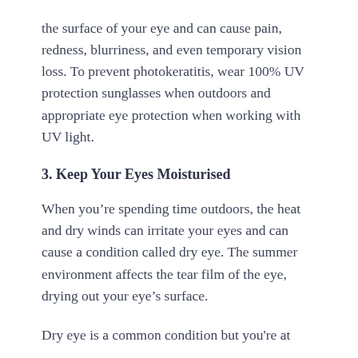the surface of your eye and can cause pain, redness, blurriness, and even temporary vision loss. To prevent photokeratitis, wear 100% UV protection sunglasses when outdoors and appropriate eye protection when working with UV light.
3. Keep Your Eyes Moisturised
When you’re spending time outdoors, the heat and dry winds can irritate your eyes and can cause a condition called dry eye. The summer environment affects the tear film of the eye, drying out your eye’s surface.
Dry eye is a common condition but you’re at